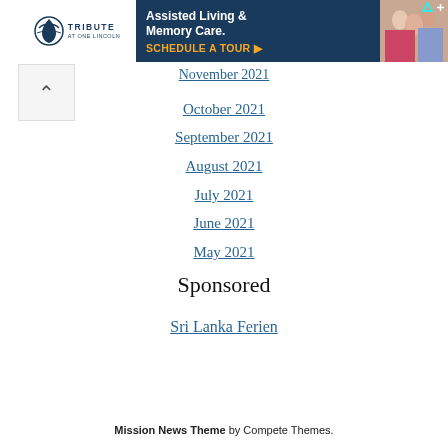[Figure (other): Advertisement banner for Tribute at One Lincoln Assisted Living & Memory Care with schedule a tour call to action]
November 2021
October 2021
September 2021
August 2021
July 2021
June 2021
May 2021
Sponsored
Sri Lanka Ferien
Mission News Theme by Compete Themes.